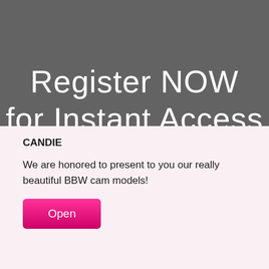[Figure (screenshot): Dark gray banner with white text reading 'Register NOW' and partially visible text 'for Instant Access' at the bottom edge]
CANDIE
We are honored to present to you our really beautiful BBW cam models!
Open